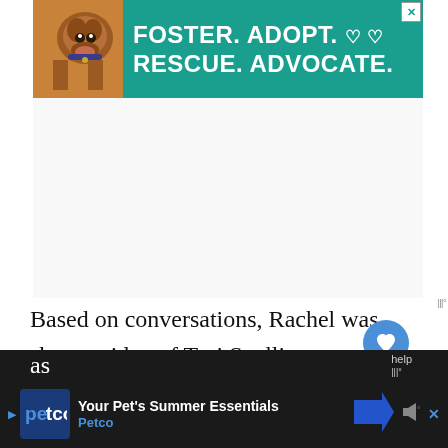[Figure (illustration): Petco advertisement banner with teal/green background, dog image on left, white bold text reading 'FOSTER. ADOPT. RESCUE. ADVOCATE.' with heart icons, and X close button in top right corner]
Based on conversations, Rachel was shown a video of Tori Spelling holding clothes and, being the total narcissist she is, Rachel
[Figure (illustration): Petco 'Your Pet's Summer Essentials' advertisement bar at bottom of screen with dark background, Petco logo, blue arrow/direction icon, and speaker/share icons]